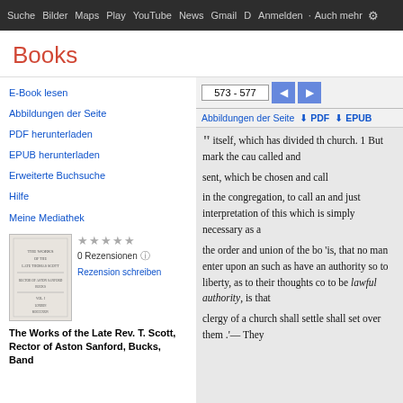Suche  Bilder  Maps  Play  YouTube  News  Gmail  D  Anmelden  Auch mehr  ⚙
Books
573 - 577
Abbildungen der Seite  ⬇ PDF  ⬇ EPUB
E-Book lesen
Abbildungen der Seite
PDF herunterladen
EPUB herunterladen
Erweiterte Buchsuche
Hilfe
Meine Mediathek
[Figure (illustration): Book cover thumbnail for The Works of the Late Rev. T. Scott]
0 Rezensionen  Rezension schreiben
The Works of the Late Rev. T. Scott, Rector of Aston Sanford, Bucks, Band
itself, which has divided th church. 1 But mark the cau called and
sent, which be chosen and call
in the congregation, to call an and just interpretation of this which is simply necessary as a
the order and union of the bo 'is, that no man enter upon an such as have an authority so to liberty, as to their thoughts co to be lawful authority, is that
clergy of a church shall settle shall set over them .'— They